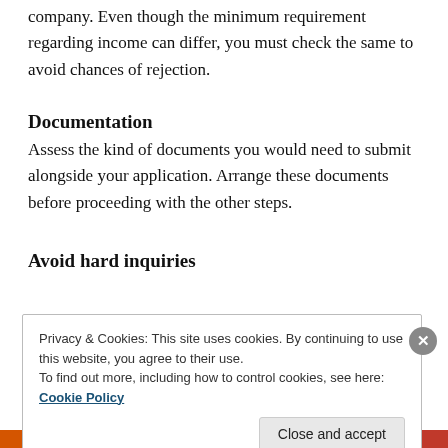company. Even though the minimum requirement regarding income can differ, you must check the same to avoid chances of rejection.
Documentation
Assess the kind of documents you would need to submit alongside your application. Arrange these documents before proceeding with the other steps.
Avoid hard inquiries
Privacy & Cookies: This site uses cookies. By continuing to use this website, you agree to their use.
To find out more, including how to control cookies, see here: Cookie Policy